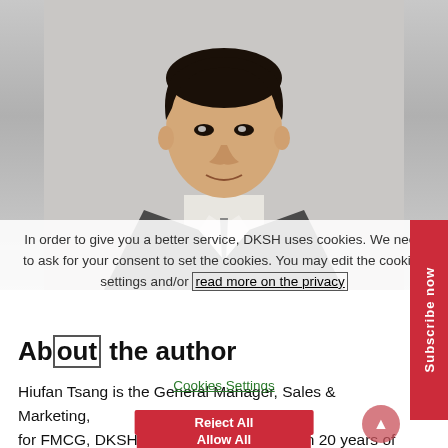[Figure (photo): Portrait photo of Hiufan Tsang, a man in a dark suit and tie against a light grey background]
In order to give you a better service, DKSH uses cookies. We need to ask for your consent to set the cookies. You may edit the cookies settings and/or read more on the privacy
About the author
Hiufan Tsang is the General Manager, Sales & Marketing, for FMCG, DKSH China. He has more than 20 years of experience in FMCG as a manufacturer, distributor, and retailer, including in international trade. He is managing a portfolio of over 20 brands that are imported into China from multiple locations like the US, Switzerland, UK,